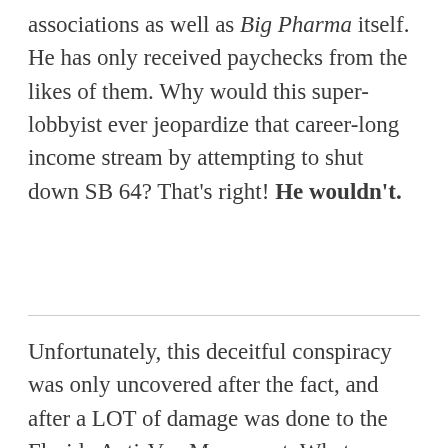associations as well as Big Pharma itself. He has only received paychecks from the likes of them. Why would this super-lobbyist ever jeopardize that career-long income stream by attempting to shut down SB 64? That's right! He wouldn't.
Unfortunately, this deceitful conspiracy was only uncovered after the fact, and after a LOT of damage was done to the Florida Anti-Vax Movement. What follows is the 3-step scheme that was